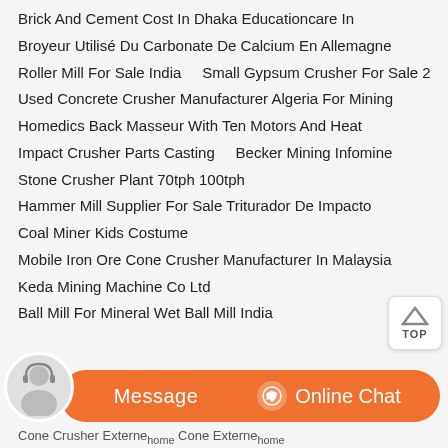Brick And Cement Cost In Dhaka Educationcare In
Broyeur Utilisé Du Carbonate De Calcium En Allemagne
Roller Mill For Sale India    Small Gypsum Crusher For Sale 2
Used Concrete Crusher Manufacturer Algeria For Mining
Homedics Back Masseur With Ten Motors And Heat
Impact Crusher Parts Casting    Becker Mining Infomine
Stone Crusher Plant 70tph 100tph
Hammer Mill Supplier For Sale Triturador De Impacto
Coal Miner Kids Costume
Mobile Iron Ore Cone Crusher Manufacturer In Malaysia
Keda Mining Machine Co Ltd
Ball Mill For Mineral Wet Ball Mill India
[Figure (other): Customer service chat bar with avatar of woman with headset, Message button and Online Chat button in orange]
Cone Crusher Externe home Cone Externe home